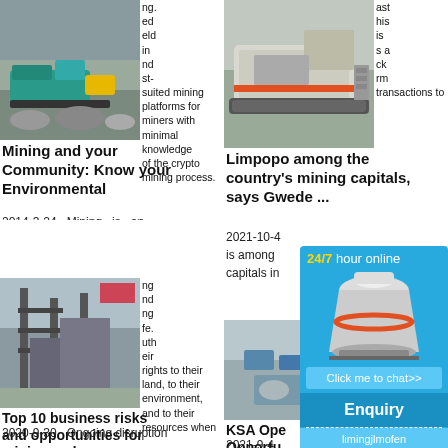[Figure (photo): Mining excavator/crusher machine at a mining site with rocky terrain, left column top]
ng. ed eld in nd st- suited mining platforms for miners with minimal knowledge of the crypto mining process.
Mining and your Community: Know your Environmental
2014-3-24   Mining is an important industry in South Africa, but it is also an industry
[Figure (photo): Large industrial mining structure/building with cranes and machinery, left column bottom]
ng nd ng fe. uth eir rights to their land, to their environment, and to their resources when
Top 10 business risks and opportunities for mining and ...
2020-9-30   Ongoing disruption
[Figure (photo): Mobile crusher/mining machine on rocky terrain, right column top]
ast his is s a ck rm transactions to
Limpopo among the country's mining capitals, says Gwede ...
2021-10-4   is among capitals in
[Figure (photo): Aerial view of mining equipment and machinery at a mining site, right column middle]
KSA Ope Opportu Investors
2021-9-4
[Figure (infographic): 24/7 hour online chat widget with cone crusher image, enquiry button, and limingjlmofen text]